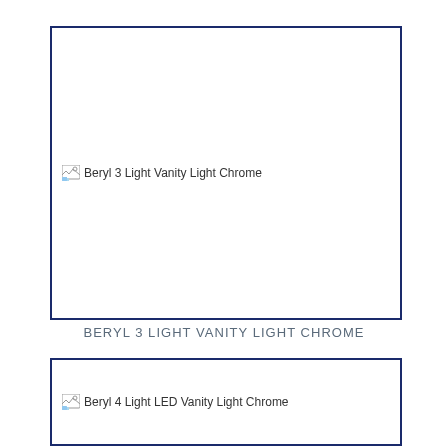[Figure (photo): Product image placeholder for Beryl 3 Light Vanity Light Chrome, showing broken image icon with alt text]
BERYL 3 LIGHT VANITY LIGHT CHROME
[Figure (photo): Product image placeholder for Beryl 4 Light LED Vanity Light Chrome, showing broken image icon with alt text (partially visible)]